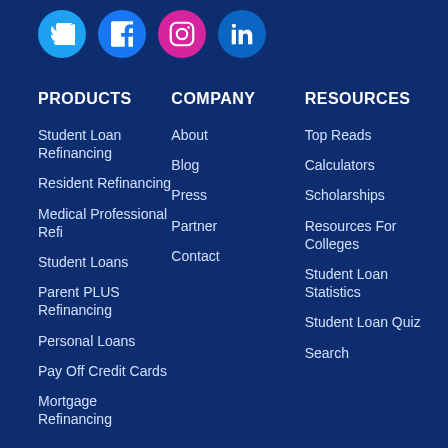[Figure (illustration): Social media icons row: Twitter (blue circle), Facebook (blue circle), Instagram (pink/magenta circle), LinkedIn (blue circle)]
PRODUCTS
Student Loan Refinancing
Resident Refinancing
Medical Professional Refi
Student Loans
Parent PLUS Refinancing
Personal Loans
Pay Off Credit Cards
Mortgage Refinancing
COMPANY
About
Blog
Press
Partner
Contact
RESOURCES
Top Reads
Calculators
Scholarships
Resources For Colleges
Student Loan Statistics
Student Loan Quiz
Search